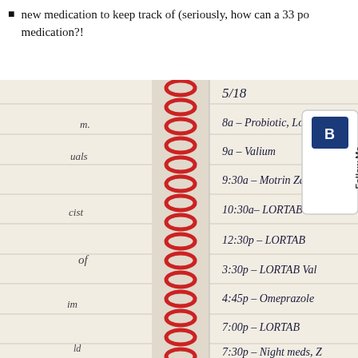new medication to keep track of (seriously, how can a 33 po... medication?!
[Figure (photo): Handwritten medication log in a spiral-bound notebook dated 5/18. Entries list times and medications: 8a - Probiotic, Lo...; 9a - Valium; 9:30a - Motrin Za...; 10:30a - LORTAB; 12:30p - LORTAB; 3:30p - LORTAB Val...; 4:45p - Omeprazole; 7:00p - LORTAB; 7:30p - Night meds, Z... Red spiral binding visible on left side. 'Follow Me' button overlay in top right corner.]